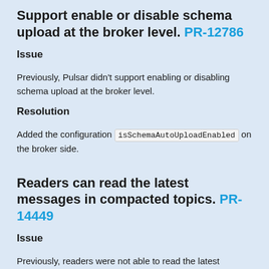Support enable or disable schema upload at the broker level. PR-12786
Issue
Previously, Pulsar didn't support enabling or disabling schema upload at the broker level.
Resolution
Added the configuration isSchemaAutoUploadEnabled on the broker side.
Readers can read the latest messages in compacted topics. PR-14449
Issue
Previously, readers were not able to read the latest